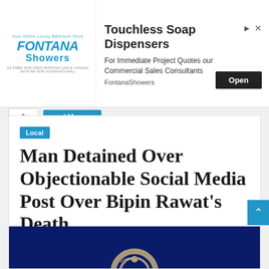[Figure (screenshot): Advertisement banner for Fontana Showers showing logo, text 'Touchless Soap Dispensers', 'For Immediate Project Quotes our Commercial Sales Consultants', 'FontantaShowers', and an 'Open' button]
Man Detained Over Objectionable Social Media Post Over Bipin Rawat's Death
Local
December 9, 2021  0  159
[Figure (photo): Dark blue background with a metallic handcuff ring visible at the bottom of the article card]